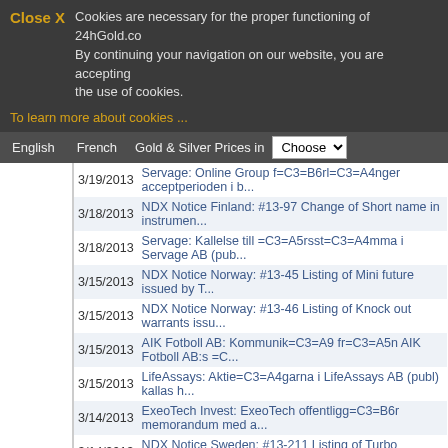Close X  Cookies are necessary for the proper functioning of 24hGold.com. By continuing your navigation on our website, you are accepting the use of cookies.
To learn more about cookies ...
English  French  Gold & Silver Prices in  Choose
| Date | Headline |
| --- | --- |
| 3/19/2013 | Servage: Online Group f=C3=B6rl=C3=A4nger acceptperioden i b... |
| 3/18/2013 | NDX Notice Finland: #13-97 Change of Short name in instrumen... |
| 3/18/2013 | Servage: Kallelse till =C3=A5rsst=C3=A4mma i Servage AB (pub... |
| 3/15/2013 | NDX Notice Norway: #13-45 Listing of Mini future issued by T... |
| 3/15/2013 | NDX Notice Norway: #13-46 Listing of Knock out warrants issu... |
| 3/15/2013 | AIK Fotboll AB: Kommunik=C3=A9 fr=C3=A5n AIK Fotboll AB:s =C... |
| 3/15/2013 | LifeAssays: Aktie=C3=A4garna i LifeAssays AB (publ) kallas h... |
| 3/14/2013 | ExeoTech Invest: ExeoTech offentligg=C3=B6r memorandum med a... |
| 3/14/2013 | NDX Notice Sweden: #13-211 Listing of Turbo warrants issued ... |
| 3/14/2013 | NDX Notice Finland: #13-92 Listing of instrument issued by T... |
| 3/14/2013 | Glycorex Transplantation: EFFEKTIVARE PATIENTBEHANDLING MEDG... |
| 3/14/2013 | Vezzel: VEZZEL AB (publ) f=C3=B6r=C3=A4ndrar rapporttillf=C3... |
| 3/13/2013 | NDX Notice Sweden: #13-207 Listing of instruments issued by ... |
| 3/13/2013 | ADDvise Lab Solutions AB: ADDvise f=C3=A5r order =?UTF-8?Q?_... |
| 3/13/2013 | Free2Move: Free2moves f=C3=B6retr=C3=A4desemission fullteckn... |
| 3/13/2013 | ADDvise Lab Solutions AB: ADDvise rekryterar ny finanschef |
| 3/13/2013 | Tethys Oil: Produktionsuppdatering februari 2013 |
| 3/13/2013 | LifeAssays: LifeAssays=C2=AE AB (publ.) och AGAPPE Indien ut... |
| 3/12/2013 | Rottneros: Rottneros stands by proposed dividend |
| 3/12/2013 | Rottneros: Rottneros utdelningsf=C3=B6rslag ligger fast |
| 3/12/2013 | ExeoTech Invest: Ordering=C3=A5ng februari 2013 |
| 3/12/2013 | NDX Notice Finland: #13-89 Listing of Turbo warrant issued b... |